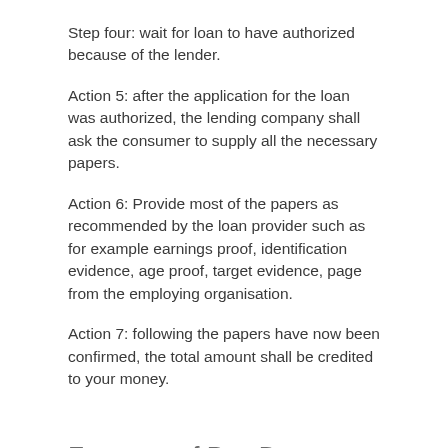Step four: wait for loan to have authorized because of the lender.
Action 5: after the application for the loan was authorized, the lending company shall ask the consumer to supply all the necessary papers.
Action 6: Provide most of the papers as recommended by the loan provider such as for example earnings proof, identification evidence, age proof, target evidence, page from the employing organisation.
Action 7: following the papers have now been confirmed, the total amount shall be credited to your money.
Features of Pay Day Loans